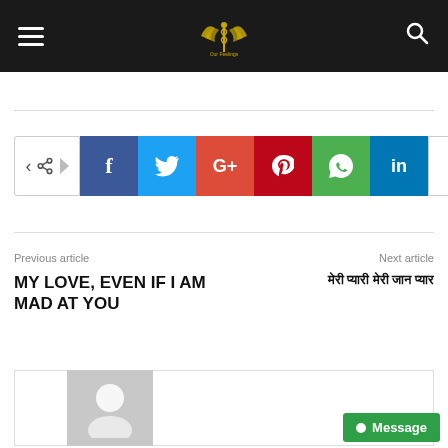Navigation bar with hamburger menu, logo, and search icon
[Figure (infographic): Social media share buttons row: share toggle, Facebook, Twitter, Google+, Pinterest, WhatsApp, LinkedIn, more]
Previous article
Next article
MY LOVE, EVEN IF I AM MAD AT YOU
मेरी प्यारी मेरी जान प्यार
[Figure (photo): Author avatar placeholder with grey background and white circle silhouette]